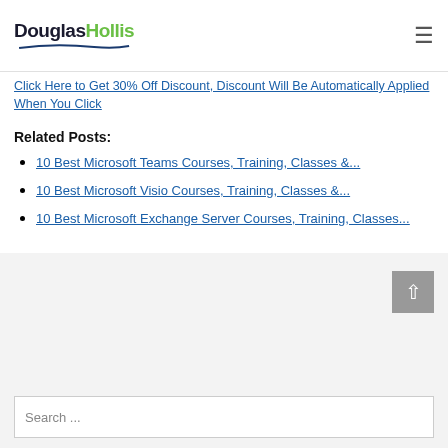DouglasHollis
Click Here to Get 30% Off Discount, Discount Will Be Automatically Applied When You Click
Related Posts:
10 Best Microsoft Teams Courses, Training, Classes &...
10 Best Microsoft Visio Courses, Training, Classes &...
10 Best Microsoft Exchange Server Courses, Training, Classes...
Search ...